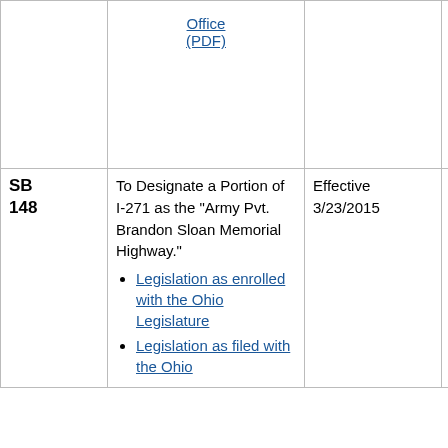| Bill | Description | Status | ORC/OAC |
| --- | --- | --- | --- |
|  | Office (PDF) |  |  |
| SB 148 | To Designate a Portion of I-271 as the "Army Pvt. Brandon Sloan Memorial Highway."
• Legislation as enrolled with the Ohio Legislature
• Legislation as filed with the Ohio | Effective 3/23/2015 | 5533.324 |